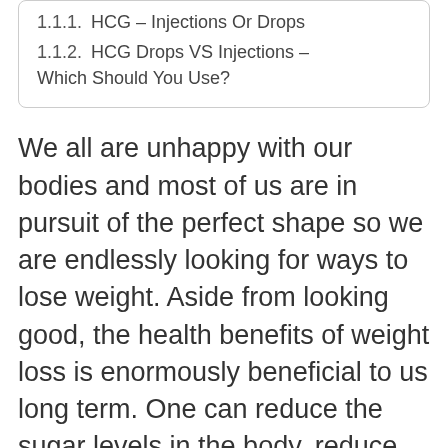1.1.1. HCG – Injections Or Drops
1.1.2. HCG Drops VS Injections – Which Should You Use?
We all are unhappy with our bodies and most of us are in pursuit of the perfect shape so we are endlessly looking for ways to lose weight. Aside from looking good, the health benefits of weight loss is enormously beneficial to us long term. One can reduce the sugar levels in the body, reduce cholesterol and eliminate high blood pressure just to name a few.